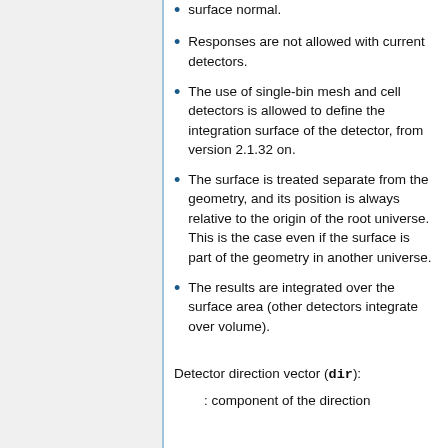surface normal.
Responses are not allowed with current detectors.
The use of single-bin mesh and cell detectors is allowed to define the integration surface of the detector, from version 2.1.32 on.
The surface is treated separate from the geometry, and its position is always relative to the origin of the root universe. This is the case even if the surface is part of the geometry in another universe.
The results are integrated over the surface area (other detectors integrate over volume).
Detector direction vector (dir):
: component of the direction